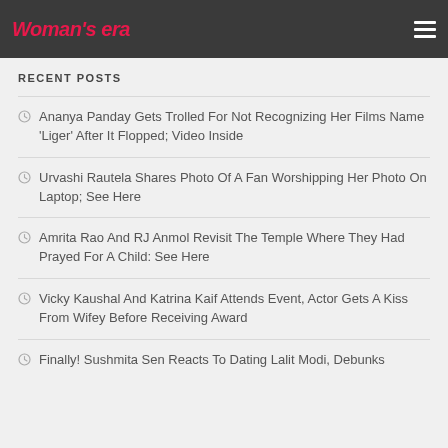Woman's era
RECENT POSTS
Ananya Panday Gets Trolled For Not Recognizing Her Films Name 'Liger' After It Flopped; Video Inside
Urvashi Rautela Shares Photo Of A Fan Worshipping Her Photo On Laptop; See Here
Amrita Rao And RJ Anmol Revisit The Temple Where They Had Prayed For A Child: See Here
Vicky Kaushal And Katrina Kaif Attends Event, Actor Gets A Kiss From Wifey Before Receiving Award
Finally! Sushmita Sen Reacts To Dating Lalit Modi, Debunks